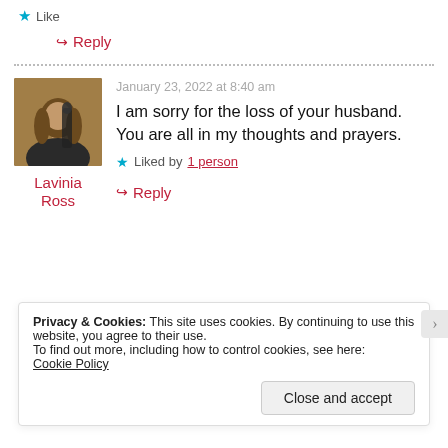Like
Reply
January 23, 2022 at 8:40 am
Lavinia Ross
[Figure (photo): Avatar photo of Lavinia Ross, a woman with long hair holding a guitar-like instrument]
I am sorry for the loss of your husband. You are all in my thoughts and prayers.
Liked by 1 person
Reply
Privacy & Cookies: This site uses cookies. By continuing to use this website, you agree to their use.
To find out more, including how to control cookies, see here: Cookie Policy
Close and accept